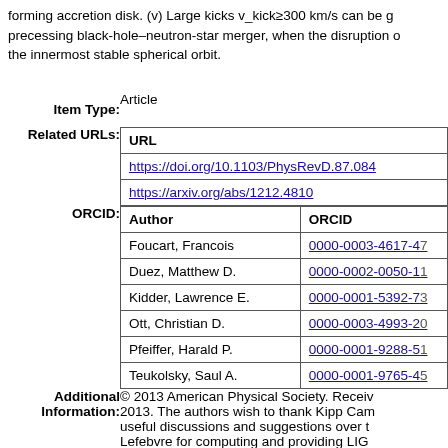forming accretion disk. (v) Large kicks v_kick≥300 km/s can be generated in a precessing black-hole–neutron-star merger, when the disruption occurs outside the innermost stable spherical orbit.
| Field | Value |
| --- | --- |
| Item Type: | Article |
| Related URLs: | URL | https://doi.org/10.1103/PhysRevD.87.084 | https://arxiv.org/abs/1212.4810 |
| ORCID: | Author | ORCID | Foucart, Francois | 0000-0003-4617-4 | Duez, Matthew D. | 0000-0002-0050-1 | Kidder, Lawrence E. | 0000-0001-5392-7 | Ott, Christian D. | 0000-0003-4993-2 | Pfeiffer, Harald P. | 0000-0001-9288-5 | Teukolsky, Saul A. | 0000-0001-9765-4 |
| Additional Information: | © 2013 American Physical Society. Received 2013. The authors wish to thank Kipp Cam useful discussions and suggestions over t Lefebvre for computing and providing LIG members of the SXS Collaboration for the the "Battle and Shine" workshop at KITP |